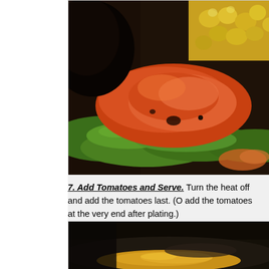[Figure (photo): Close-up photo of cooked food in a pan: green zucchini/peppers, bacon or glazed meat, corn kernels visible in background, rich warm tones]
7. Add Tomatoes and Serve. Turn the heat off and add the tomatoes last. (O add the tomatoes at the very end after plating.)
[Figure (photo): Dark close-up photo of a cooking pan with golden/yellow food contents, heavily shadowed background]